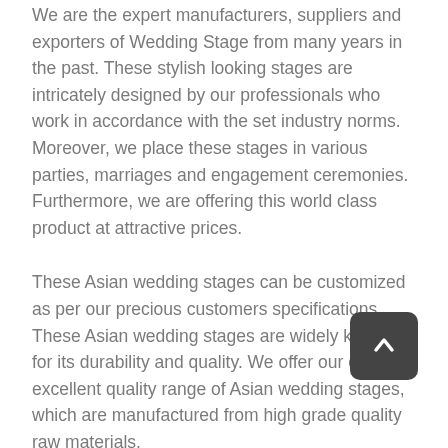We are the expert manufacturers, suppliers and exporters of Wedding Stage from many years in the past. These stylish looking stages are intricately designed by our professionals who work in accordance with the set industry norms. Moreover, we place these stages in various parties, marriages and engagement ceremonies. Furthermore, we are offering this world class product at attractive prices.
These Asian wedding stages can be customized as per our precious customers specifications. These Asian wedding stages are widely known for its durability and quality. We offer our client an excellent quality range of Asian wedding stages, which are manufactured from high grade quality raw materials.
These stages are made of unbreakable fiberglass, high quality deco painted. These wedding mandap stages are light weighted and very easy to assemble and install. We can also manufacture mandap stages as per color and shape like round, square, oval and rectangle as required. In addition to this, these stages are totally foldable. These Flower Panel will